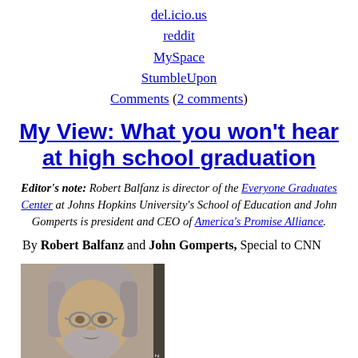del.icio.us
reddit
MySpace
StumbleUpon
Comments (2 comments)
My View: What you won't hear at high school graduation
Editor's note: Robert Balfanz is director of the Everyone Graduates Center at Johns Hopkins University's School of Education and John Gomperts is president and CEO of America's Promise Alliance.
By Robert Balfanz and John Gomperts, Special to CNN
[Figure (photo): Headshot photo of Robert Balfanz, a man with long gray hair and beard wearing glasses, with photo credit 'COURTESY ROBERT BALFANZ' printed vertically on the right side.]